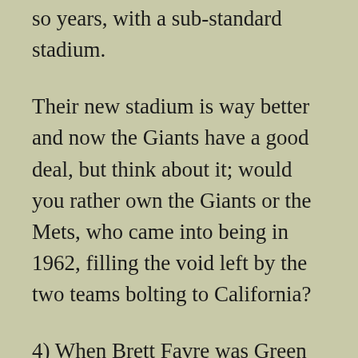so years, with a sub-standard stadium.
Their new stadium is way better and now the Giants have a good deal, but think about it; would you rather own the Giants or the Mets, who came into being in 1962, filling the void left by the two teams bolting to California?
4) When Brett Favre was Green Bay's quarterback in 1994, his backup was Mark Brunell, who wound getting traded to Jacksonville the next year, the Jaguars' first season.
Green Bay had another QB in camp in 1994, but they cut him. Guy wound up playing in the Arena League for three years, then in NFL.